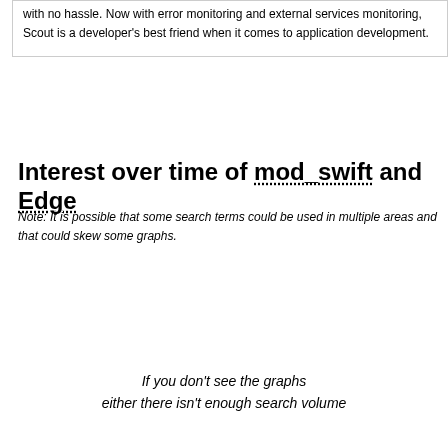with no hassle. Now with error monitoring and external services monitoring, Scout is a developer's best friend when it comes to application development.
Interest over time of mod_swift and Edge
Note: It is possible that some search terms could be used in multiple areas and that could skew some graphs.
If you don't see the graphs either there isn't enough search volume